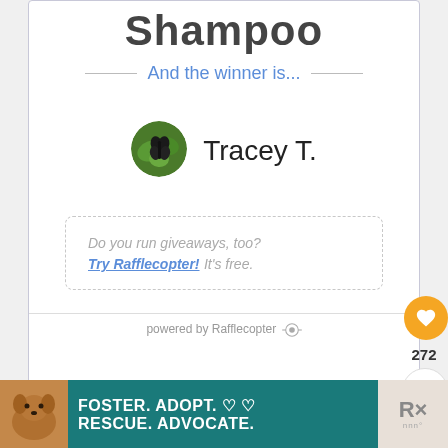Shampoo
And the winner is...
[Figure (photo): Circular avatar photo of winner Tracey T., showing a dark-colored butterfly or similar subject on green leaves]
Tracey T.
Do you run giveaways, too? Try Rafflecopter! It's free.
powered by Rafflecopter
[Figure (infographic): Orange circular heart/like button with count 272, and a share button below it]
[Figure (infographic): Advertisement banner: FOSTER. ADOPT. RESCUE. ADVOCATE. with dog image on teal background]